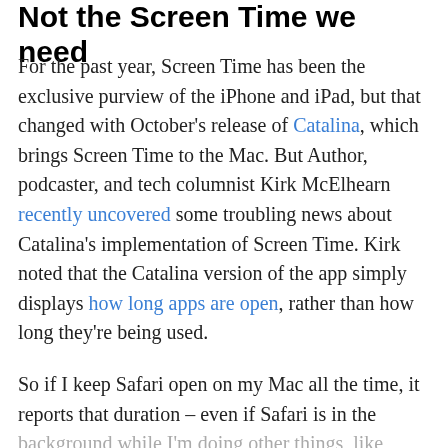Not the Screen Time we need
For the past year, Screen Time has been the exclusive purview of the iPhone and iPad, but that changed with October's release of Catalina, which brings Screen Time to the Mac. But Author, podcaster, and tech columnist Kirk McElhearn recently uncovered some troubling news about Catalina's implementation of Screen Time. Kirk noted that the Catalina version of the app simply displays how long apps are open, rather than how long they're being used.
So if I keep Safari open on my Mac all the time, it reports that duration – even if Safari is in the background while I'm doing other things, like writing this editorial. Like Kirk, I keep many apps